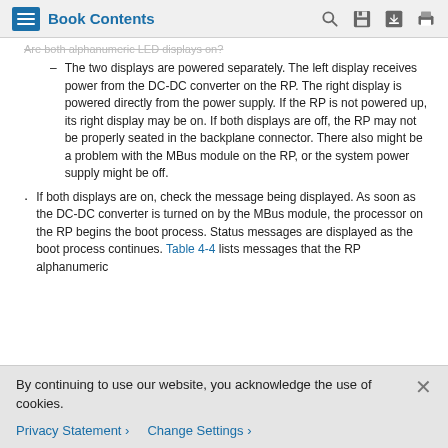Book Contents
Are both alphanumeric LED displays on?
The two displays are powered separately. The left display receives power from the DC-DC converter on the RP. The right display is powered directly from the power supply. If the RP is not powered up, its right display may be on. If both displays are off, the RP may not be properly seated in the backplane connector. There also might be a problem with the MBus module on the RP, or the system power supply might be off.
If both displays are on, check the message being displayed. As soon as the DC-DC converter is turned on by the MBus module, the processor on the RP begins the boot process. Status messages are displayed as the boot process continues. Table 4-4 lists messages that the RP alphanumeric
By continuing to use our website, you acknowledge the use of cookies.
Privacy Statement > Change Settings >